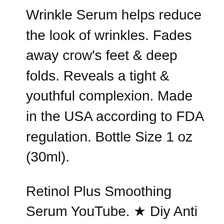Wrinkle Serum helps reduce the look of wrinkles. Fades away crow's feet & deep folds. Reveals a tight & youthful complexion. Made in the USA according to FDA regulation. Bottle Size 1 oz (30ml).
Retinol Plus Smoothing Serum YouTube. ★ Diy Anti Aging Eye Serums Sculpt Retinol Collagen Anti Aging Kit Reviews Revive Advanced Anti Aging Eye Serum Reviews Best Anti Aging Essential Oils For Skin Anti Aging Doctors And Prescribing Hgh Regenetarive Medicine And Anti Aging Diploma University. Drugstore Anti Aging Serum Anti Aging Under Eye Cream How Long Does It Take To Dr Nassif . Sculpt Retinol Collagen Anti Aging Kit Reviews, Earn $10.00 Beauty Bucks for purchases up to $50.00, $20.00